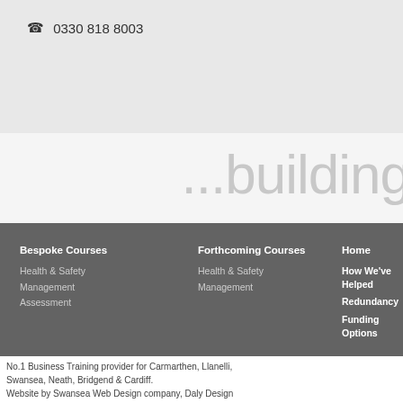☎  0330 818 8003
...building
Bespoke Courses
Health & Safety
Management
Assessment
Forthcoming Courses
Health & Safety
Management
Home
How We've Helped
Redundancy
Funding Options
No.1 Business Training provider for Carmarthen, Llanelli, Swansea, Neath, Bridgend & Cardiff.
Website by Swansea Web Design company, Daly Design